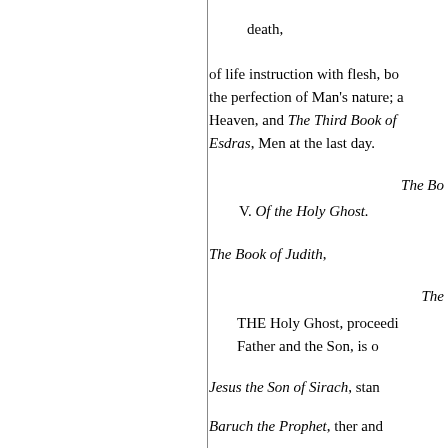death,
of life instruction with flesh, bo the perfection of Man's nature; a Heaven, and The Third Book of Esdras, Men at the last day.
The Bo
V. Of the Holy Ghost.
The Book of Judith,
The
THE Holy Ghost, proceedi Father and the Son, is o
Jesus the Son of Sirach, stan
Baruch the Prophet, ther and
The Song of the Three Childr
The Story of Susanna,
Of Bel and the Dragon, tures
The P... of M... Ol